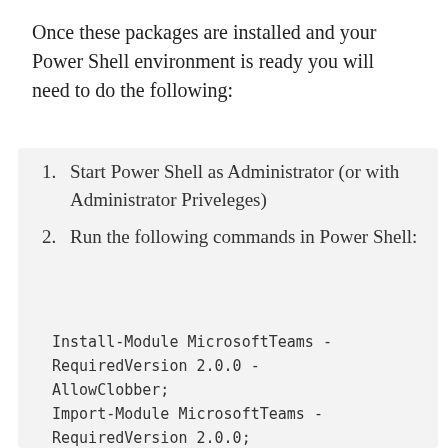Once these packages are installed and your Power Shell environment is ready you will need to do the following:
Start Power Shell as Administrator (or with Administrator Priveleges)
Run the following commands in Power Shell:
Install-Module MicrosoftTeams -RequiredVersion 2.0.0 -AllowClobber;
Import-Module MicrosoftTeams -RequiredVersion 2.0.0;
Connect-MicrosoftTeams